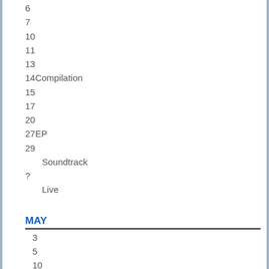6
7
10
11
13
14 Compilation
15
17
20
27 EP
29
Soundtrack
?
Live
MAY
3
5
10
11
Live
14
15
17